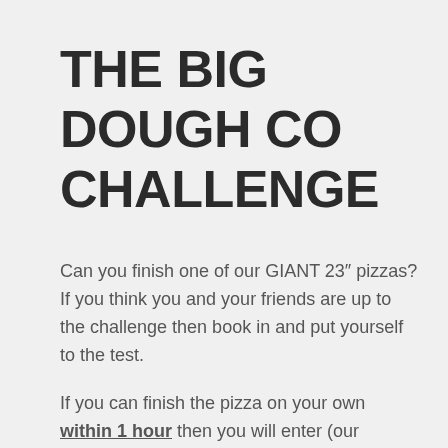THE BIG DOUGH CO CHALLENGE
Can you finish one of our GIANT 23″ pizzas? If you think you and your friends are up to the challenge then book in and put yourself to the test.
If you can finish the pizza on your own within 1 hour then you will enter (our currently